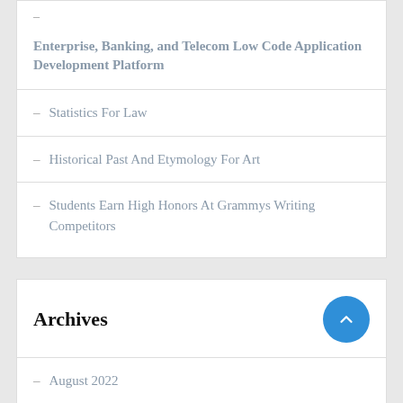–
Enterprise, Banking, and Telecom Low Code Application Development Platform
Statistics For Law
Historical Past And Etymology For Art
Students Earn High Honors At Grammys Writing Competitors
Archives
August 2022